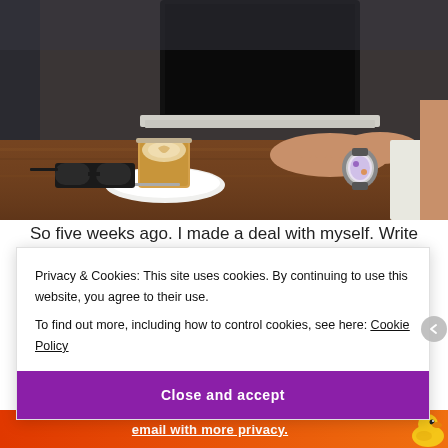[Figure (photo): Person working on a laptop at a cafe table, with a latte in a glass on a white saucer and sunglasses on the table. Person is wearing a smartwatch.]
So five weeks ago. I made a deal with myself. Write
Privacy & Cookies: This site uses cookies. By continuing to use this website, you agree to their use.
To find out more, including how to control cookies, see here: Cookie Policy
Close and accept
[Figure (infographic): Orange ad banner at bottom: 'email with more privacy.' with DuckDuckGo duck logo on the right.]